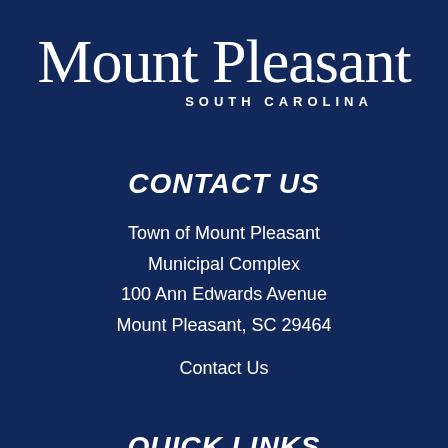[Figure (logo): Mount Pleasant South Carolina city logo with script font]
CONTACT US
Town of Mount Pleasant
Municipal Complex
100 Ann Edwards Avenue
Mount Pleasant, SC 29464
Contact Us
QUICK LINKS
Economic Development Strategy